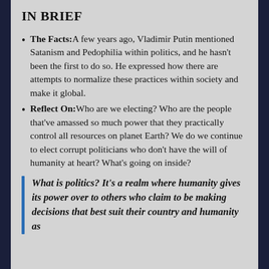IN BRIEF
The Facts:A few years ago, Vladimir Putin mentioned Satanism and Pedophilia within politics, and he hasn't been the first to do so. He expressed how there are attempts to normalize these practices within society and make it global.
Reflect On:Who are we electing? Who are the people that've amassed so much power that they practically control all resources on planet Earth? We do we continue to elect corrupt politicians who don't have the will of humanity at heart? What's going on inside?
What is politics? It's a realm where humanity gives its power over to others who claim to be making decisions that best suit their country and humanity as